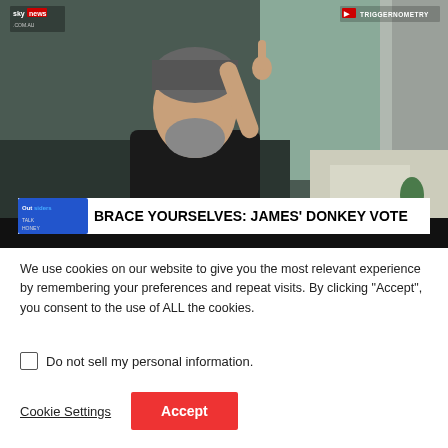[Figure (screenshot): Video thumbnail screenshot from Sky News / Triggernometry showing a bearded man in a black jacket gesturing with one finger raised, sitting in a living room. Lower third chyron reads: 'BRACE YOURSELVES: JAMES' DONKEY VOTE']
We use cookies on our website to give you the most relevant experience by remembering your preferences and repeat visits. By clicking “Accept”, you consent to the use of ALL the cookies.
Do not sell my personal information.
Cookie Settings
Accept